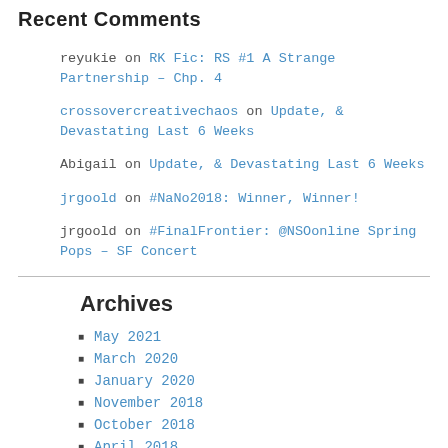Recent Comments
reyukie on RK Fic: RS #1 A Strange Partnership – Chp. 4
crossovercreativechaos on Update, & Devastating Last 6 Weeks
Abigail on Update, & Devastating Last 6 Weeks
jrgoold on #NaNo2018: Winner, Winner!
jrgoold on #FinalFrontier: @NSOonline Spring Pops – SF Concert
Archives
May 2021
March 2020
January 2020
November 2018
October 2018
April 2018
March 2018
January 2018
November 2017
October 2017